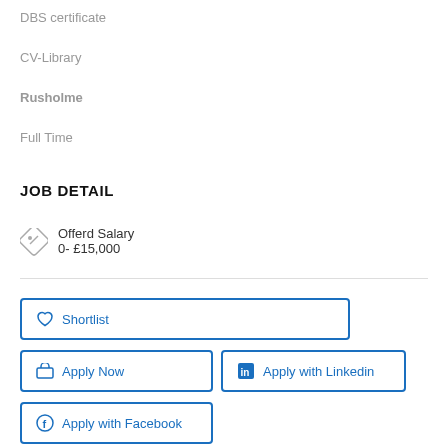DBS certificate
CV-Library
Rusholme
Full Time
JOB DETAIL
Offerd Salary
0- £15,000
Shortlist
Apply Now
Apply with Linkedin
Apply with Facebook